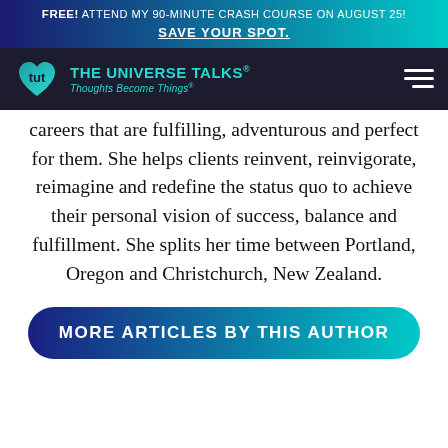FREE! ATTEND MY 90-MINUTE CRASH COURSE ON AUGUST 25! SAVE YOUR SPOT.
[Figure (logo): The Universe Talks logo with tut heart icon, teal text reading 'THE UNIVERSE TALKS® Thoughts Become Things®', and hamburger menu on right]
careers that are fulfilling, adventurous and perfect for them. She helps clients reinvent, reinvigorate, reimagine and redefine the status quo to achieve their personal vision of success, balance and fulfillment. She splits her time between Portland, Oregon and Christchurch, New Zealand.
MORE ARTICLES BY THIS AUTHOR